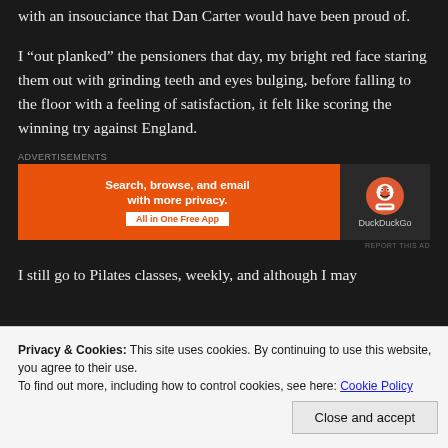with an insouciance that Dan Carter would have been proud of.
I “out planked” the pensioners that day, my bright red face staring them out with grinding teeth and eyes bulging, before falling to the floor with a feeling of satisfaction, it felt like scoring the winning try against England.
[Figure (other): DuckDuckGo advertisement banner: orange background with text 'Search, browse, and email with more privacy. All in One Free App' and DuckDuckGo logo on dark background]
I still go to Pilates classes, weekly, and although I may
Privacy & Cookies: This site uses cookies. By continuing to use this website, you agree to their use.
To find out more, including how to control cookies, see here: Cookie Policy